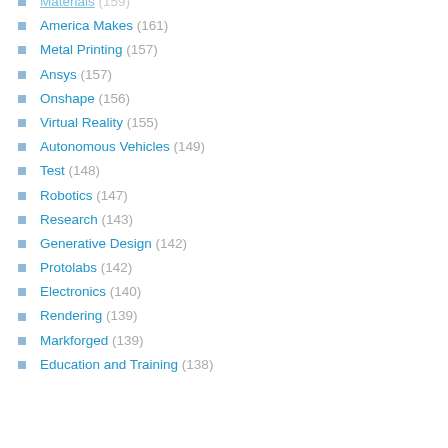America Makes (161)
Metal Printing (157)
Ansys (157)
Onshape (156)
Virtual Reality (155)
Autonomous Vehicles (149)
Test (148)
Robotics (147)
Research (143)
Generative Design (142)
Protolabs (142)
Electronics (140)
Rendering (139)
Markforged (139)
Education and Training (138)